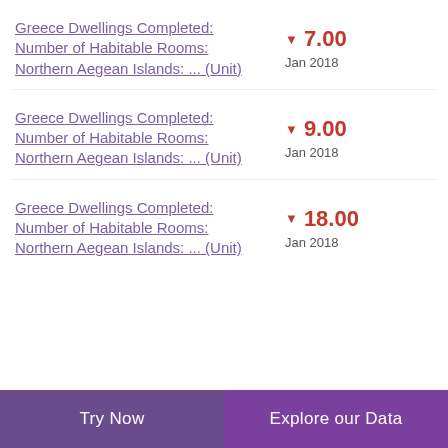Greece Dwellings Completed: Number of Habitable Rooms: Northern Aegean Islands: ... (Unit)
Greece Dwellings Completed: Number of Habitable Rooms: Northern Aegean Islands: ... (Unit)
Greece Dwellings Completed: Number of Habitable Rooms: Northern Aegean Islands: ... (Unit)
Try Now   Explore our Data